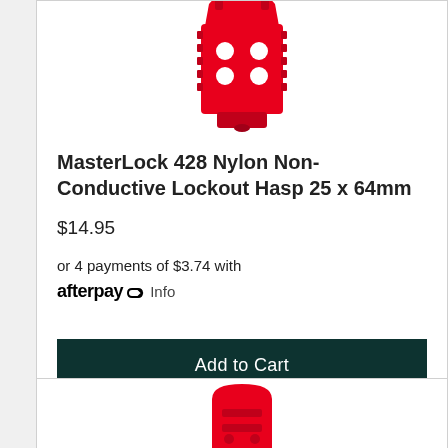[Figure (photo): Red MasterLock 428 Nylon Non-Conductive Lockout Hasp product photo, partially cropped at top of card]
MasterLock 428 Nylon Non-Conductive Lockout Hasp 25 x 64mm
$14.95
or 4 payments of $3.74 with afterpay Info
Add to Cart
[Figure (photo): Red lockout hasp product photo, partially cropped, bottom card]